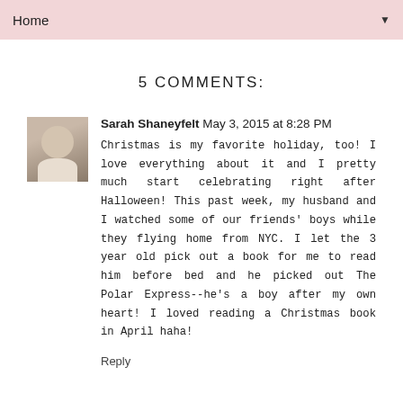Home ▼
5 COMMENTS:
Sarah Shaneyfelt May 3, 2015 at 8:28 PM
Christmas is my favorite holiday, too! I love everything about it and I pretty much start celebrating right after Halloween! This past week, my husband and I watched some of our friends' boys while they flying home from NYC. I let the 3 year old pick out a book for me to read him before bed and he picked out The Polar Express--he's a boy after my own heart! I loved reading a Christmas book in April haha!
Reply